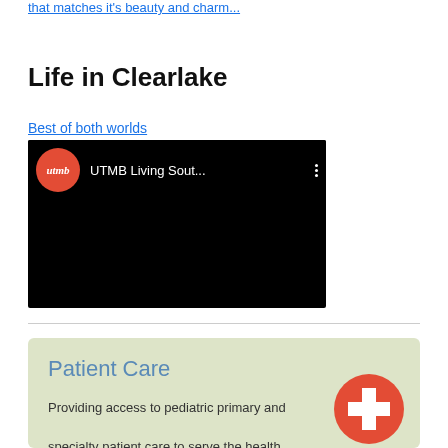that matches it's beauty and charm...
Life in Clearlake
Best of both worlds
[Figure (screenshot): Video thumbnail showing UTMB logo on red circle and text 'UTMB Living Sout...' on black background]
Patient Care
Providing access to pediatric primary and specialty patient care to serve the health